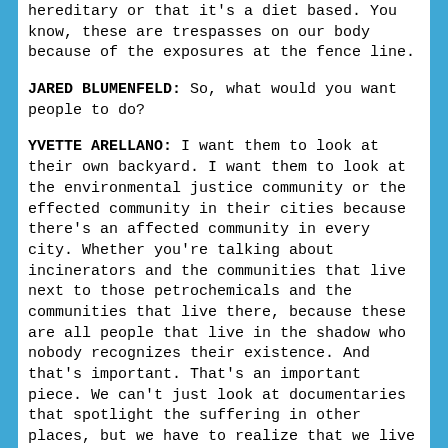hereditary or that it's a diet based. You know, these are trespasses on our body because of the exposures at the fence line.
JARED BLUMENFELD: So, what would you want people to do?
YVETTE ARELLANO:  I want them to look at their own backyard. I want them to look at the environmental justice community or the effected community in their cities because there's an affected community in every city. Whether you're talking about incinerators and the communities that live next to those petrochemicals and the communities that live there, because these are all people that live in the shadow who nobody recognizes their existence. And that's important. That's an important piece. We can't just look at documentaries that spotlight the suffering in other places, but we have to realize that we live in a first world nation that has egregious violations of human rights in our own backyard. So, I want them to discover what that community is and also carry an understanding